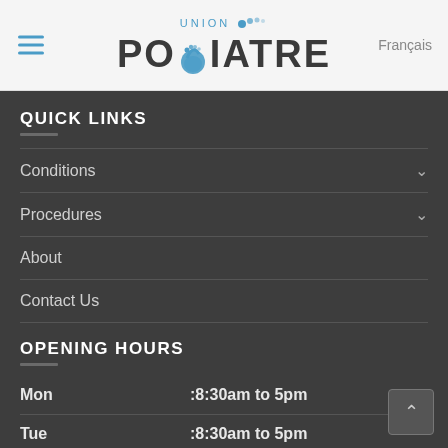[Figure (logo): Union Podiatre logo with foot icon, top navigation bar with hamburger menu and Français link]
QUICK LINKS
Conditions
Procedures
About
Contact Us
OPENING HOURS
Mon :8:30am to 5pm
Tue :8:30am to 5pm